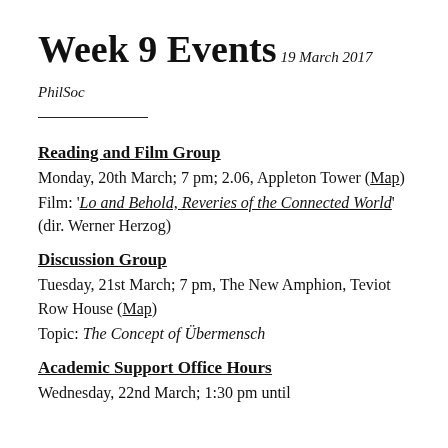Week 9 Events
19 March 2017
PhilSoc
Reading and Film Group
Monday, 20th March; 7 pm; 2.06, Appleton Tower (Map)
Film: ‘Lo and Behold, Reveries of the Connected World’ (dir. Werner Herzog)
Discussion Group
Tuesday, 21st March; 7 pm, The New Amphion, Teviot Row House (Map)
Topic: The Concept of Übermensch
Academic Support Office Hours
Wednesday, 22nd March; 1:30 pm until